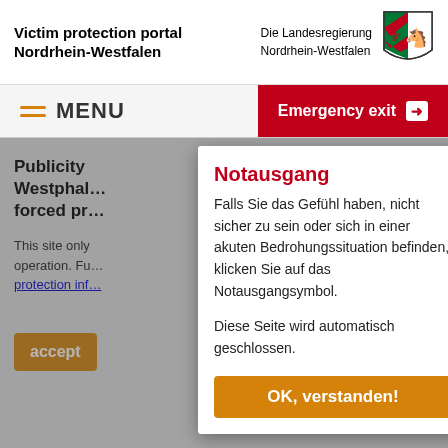Victim protection portal Nordrhein-Westfalen
Die Landesregierung Nordrhein-Westfalen
[Figure (logo): NRW coat of arms - green and white shield with red lion and white horse]
MENU
Emergency exit →
Publicity … Westphal… forced pr…
This site only… operation. Fu… protection inf…
accept
Notausgang
Falls Sie das Gefühl haben, nicht sicher zu sein oder sich in einer akuten Bedrohungssituation befinden, klicken Sie auf das Notausgangsymbol.
Diese Seite wird automatisch geschlossen.
OK, verstanden!